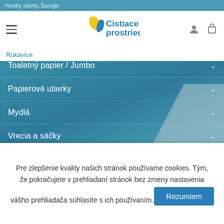Handry, utierky, Špongie
[Figure (logo): Cistiace prostriedky.sk logo with blue leaf/drop icon]
Rukavice
Toaletný papier / Jumbo
Papierové utierky
Mydlá
Vrecia a sáčky
Zásobníky a dávkovače
Vône a osviežovače
NÁJDI PRODUKT
Pre zlepšenie kvality našich stránok používame cookies. Tým, že pokračujete v prehliadaní stránok bez zmeny nastavenia vášho prehliadača súhlasíte s ich používaním.
Rozumiem